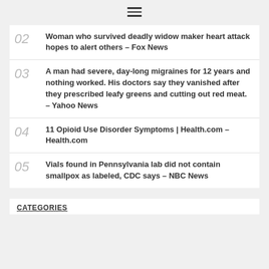[Figure (other): Hamburger menu icon (three horizontal lines)]
02 Woman who survived deadly widow maker heart attack hopes to alert others – Fox News
03 A man had severe, day-long migraines for 12 years and nothing worked. His doctors say they vanished after they prescribed leafy greens and cutting out red meat. – Yahoo News
04 11 Opioid Use Disorder Symptoms | Health.com – Health.com
05 Vials found in Pennsylvania lab did not contain smallpox as labeled, CDC says – NBC News
CATEGORIES